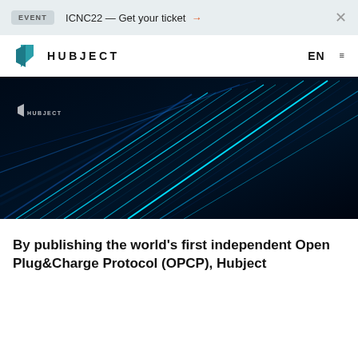EVENT   ICNC22 — Get your ticket  →   ×
[Figure (logo): Hubject logo: teal geometric arrow/chevron shape followed by HUBJECT text in bold uppercase letters]
[Figure (photo): Dark abstract technology image showing glowing blue and teal light streaks moving diagonally across a dark background, with Hubject logo watermark in upper left corner]
By publishing the world's first independent Open Plug&Charge Protocol (OPCP), Hubject